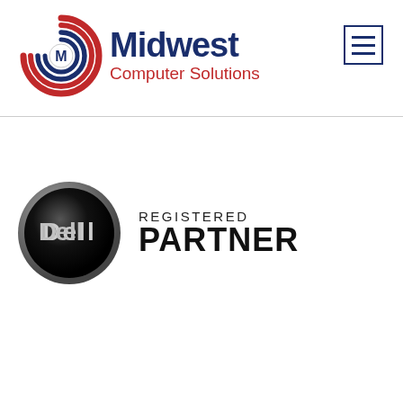[Figure (logo): Midwest Computer Solutions logo: circular swirl icon with M letter in blue and red, followed by 'Midwest' in dark blue bold and 'Computer Solutions' in red]
[Figure (logo): Hamburger menu icon: three horizontal blue lines in a blue square border]
[Figure (logo): Dell Registered Partner badge: Dell logo on black circular metallic badge on left, 'REGISTERED PARTNER' text on right in dark gray/black]